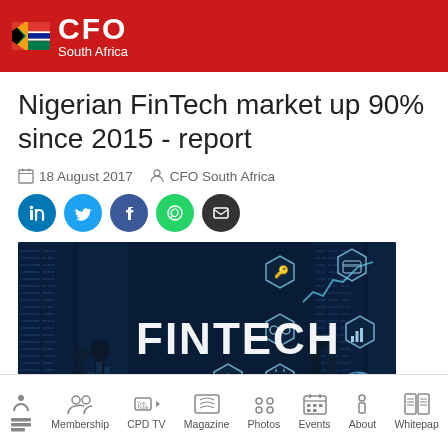CFO South Africa
Nigerian FinTech market up 90% since 2015 - report
18 August 2017   CFO South Africa
[Figure (illustration): FinTech themed banner image with dark blue background showing silhouettes, hexagonal icons, financial charts, and the word FINTECH in large white letters]
Home  Membership  CPD TV  Magazine  Photos  Events  About  Whitepaper